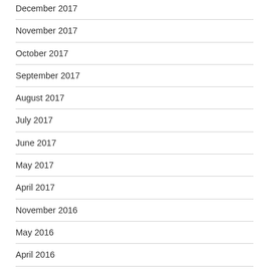December 2017
November 2017
October 2017
September 2017
August 2017
July 2017
June 2017
May 2017
April 2017
November 2016
May 2016
April 2016
March 2016